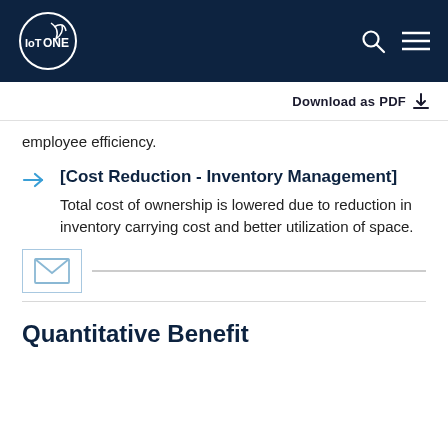IoT ONE
Download as PDF
employee efficiency.
[Cost Reduction - Inventory Management] Total cost of ownership is lowered due to reduction in inventory carrying cost and better utilization of space.
[Figure (illustration): Email icon with a horizontal divider line]
Quantitative Benefit